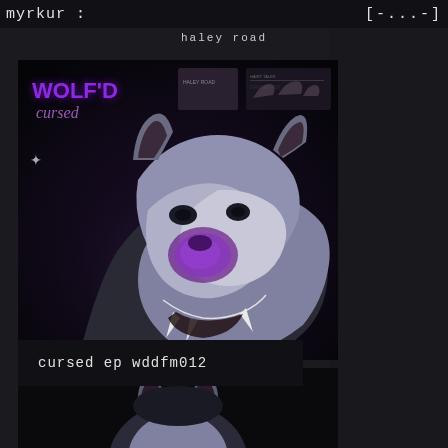myrkur : [-...-]
haley road
[Figure (illustration): Album cover art for WOLF'D 'cursed' — dark background with a growling wolf with purple-tinted nose/muzzle, white and dark fur, showing teeth. Text 'WOLF'D' in bold purple and 'cursed' in italic purple at top left. Decorative images at top right.]
cursed ep wddfm012
[Figure (illustration): Partial bottom wolf image, dark and moody, showing top of wolf head]